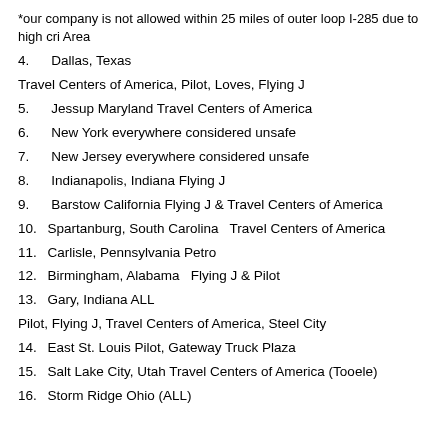*our company is not allowed within 25 miles of outer loop I-285 due to high cri Area
4.  Dallas, Texas
Travel Centers of America, Pilot, Loves, Flying J
5.  Jessup Maryland Travel Centers of America
6.  New York everywhere considered unsafe
7.  New Jersey everywhere considered unsafe
8.  Indianapolis, Indiana Flying J
9.  Barstow California Flying J & Travel Centers of America
10. Spartanburg, South Carolina  Travel Centers of America
11.  Carlisle, Pennsylvania Petro
12.  Birmingham, Alabama  Flying J & Pilot
13.  Gary, Indiana ALL
Pilot, Flying J, Travel Centers of America, Steel City
14.  East St. Louis Pilot, Gateway Truck Plaza
15.  Salt Lake City, Utah Travel Centers of America (Tooele)
16.  Storm Ridge Ohio (ALL)